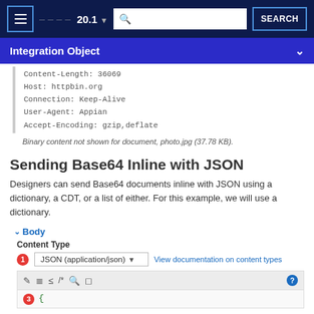20.1 — Integration Object
Content-Length: 36069
Host: httpbin.org
Connection: Keep-Alive
User-Agent: Appian
Accept-Encoding: gzip,deflate
Binary content not shown for document, photo.jpg (37.78 KB).
Sending Base64 Inline with JSON
Designers can send Base64 documents inline with JSON using a dictionary, a CDT, or a list of either. For this example, we will use a dictionary.
▸ Body
Content Type
JSON (application/json)   View documentation on content types
[Figure (screenshot): Code editor toolbar with icons for edit, indent, dedent, comment, search, and format actions, plus a help icon. Below shows line 3 with an opening brace character in green.]